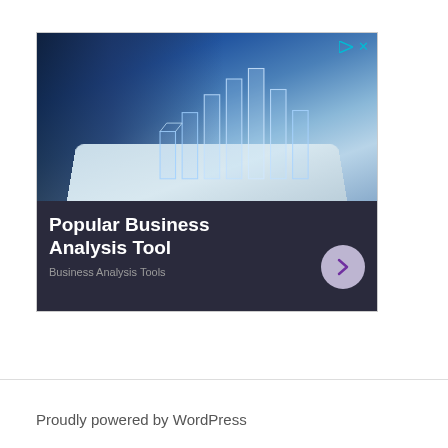[Figure (photo): Advertisement banner showing a person's hand touching a tablet with holographic 3D bar charts rising from it. Blue-toned business technology photo. Contains ad icons (triangle play button and X) in top right corner. Bottom section is dark with white bold text 'Popular Business Analysis Tool', smaller gray text 'Business Analysis Tools', and a circular chevron button on the right.]
Proudly powered by WordPress